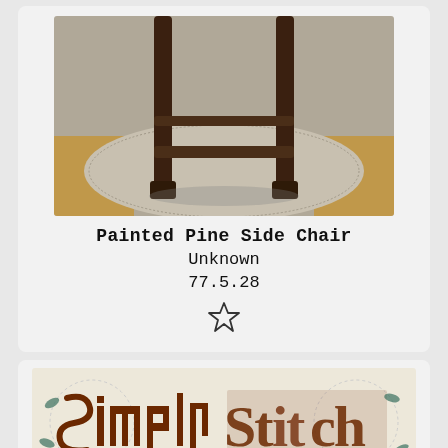[Figure (photo): Close-up photo of chair legs on a braided oval rug with wooden floor visible]
Painted Pine Side Chair
Unknown
77.5.28
[Figure (photo): Decorative textile or embroidery with ornate calligraphic/gothic lettering in brown and teal on a light background]